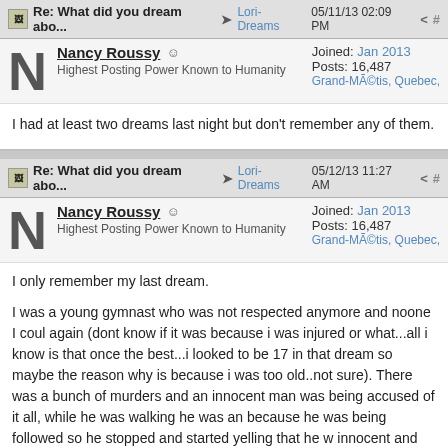Re: What did you dream abo... → Lori-Dreams 05/11/13 02:09 PM
Nancy Roussy
Highest Posting Power Known to Humanity
Joined: Jan 2013
Posts: 16,487
Grand-Métis, Quebec,
I had at least two dreams last night but don't remember any of them.
Re: What did you dream abo... → Lori-Dreams 05/12/13 11:27 AM
Nancy Roussy
Highest Posting Power Known to Humanity
Joined: Jan 2013
Posts: 16,487
Grand-Métis, Quebec,
I only remember my last dream.

I was a young gymnast who was not respected anymore and noone I could again (dont know if it was because i was injured or what...all i know is that once the best...i looked to be 17 in that dream so maybe the reason why is because i was too old..not sure). There was a bunch of murders and an innocent man was being accused of it all, while he was walking he was an because he was being followed so he stopped and started yelling that he w innocent and tired of it all so he put a gun to his head to kill himself and I to him that I knew that he was innocent and that I would help him but he accu me of being a cop and that insulted me. He tried to kill himself and when h on the ground (no blood and he looked allright) and walked right at him ar